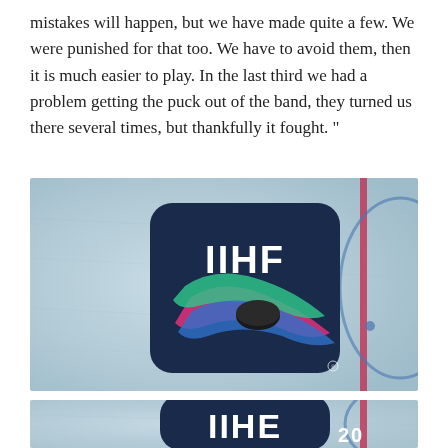mistakes will happen, but we have made quite a few. We were punished for that too. We have to avoid them, then it is much easier to play. In the last third we had a problem getting the puck out of the band, they turned us there several times, but thankfully it fought. "
[Figure (photo): IIHF 2022 Finland logo on an ice rink background. The IIHF logo features the text 'IIHF' in white on a dark navy rounded rectangle, with colorful swirling ribbons (pink, green, blue) around a hockey puck. To the right, vertical text reads '2022 FINLAND' in white. Behind the logo is a blue-tinted ice surface with red and blue rink markings visible.]
[Figure (photo): Partial view of another IIHF 2022 logo on an ice rink background, cropped at the bottom of the page. Shows the top portion of the IIHF logo and partial '20' text.]